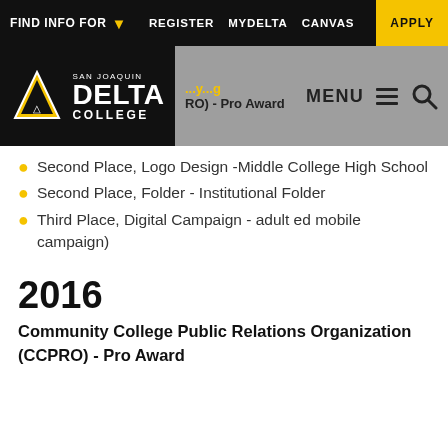FIND INFO FOR  REGISTER  MYDELTA  CANVAS  APPLY
[Figure (logo): San Joaquin Delta College logo with navigation bar showing MENU and search icon]
Second Place, Logo Design -Middle College High School
Second Place, Folder - Institutional Folder
Third Place, Digital Campaign - adult ed mobile campaign)
2016
Community College Public Relations Organization (CCPRO) - Pro Award